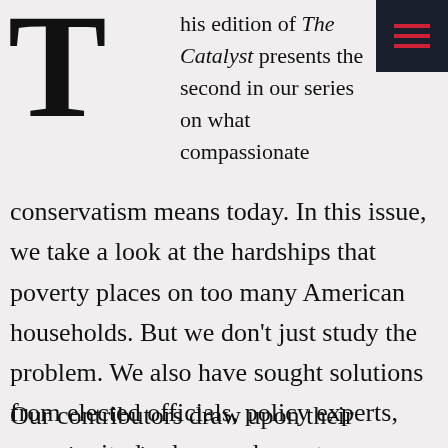[Figure (logo): Large decorative drop capital letter T in bold black serif font]
his edition of The Catalyst presents the second in our series on what compassionate conservatism means today. In this issue, we take a look at the hardships that poverty places on too many American households. But we don't just study the problem. We also have sought solutions from elected officials, policy experts, community leaders, and, most importantly, Americans who have experienced poverty.
Our contributors draw upon their experiences in